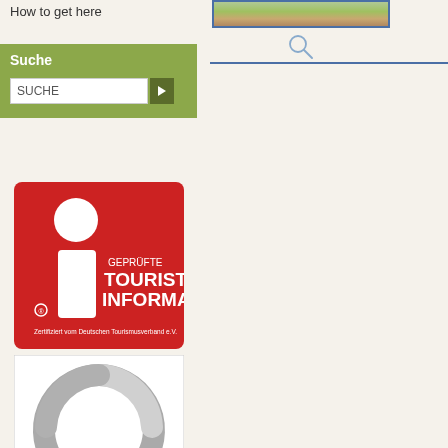How to get here
Suche
[Figure (logo): Geprüfte Tourist Information badge - red square with white 'i' symbol and text 'GEPRÜFTE TOURIST INFORMATION' and 'Zertifiziert vom Deutschen Tourismusverband e.V.']
[Figure (logo): Q quality logo - grey ribbon/ring shaped into letter Q with German flag colors (black, red, gold) ribbon]
[Figure (photo): Small thumbnail photo, appears to show flowers or nature scene]
[Figure (illustration): Magnifying glass / search icon]